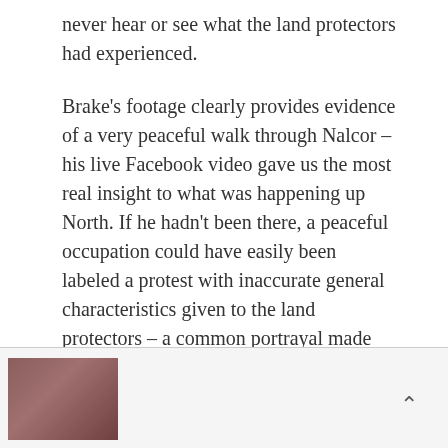never hear or see what the land protectors had experienced.
Brake's footage clearly provides evidence of a very peaceful walk through Nalcor – his live Facebook video gave us the most real insight to what was happening up North. If he hadn't been there, a peaceful occupation could have easily been labeled a protest with inaccurate general characteristics given to the land protectors – a common portrayal made by multimedia.
Brake has truly been the only person following the Muskrat Falls land protectors in an honest and
[Figure (photo): Small thumbnail image showing a group of people, partially visible at the bottom of the page]